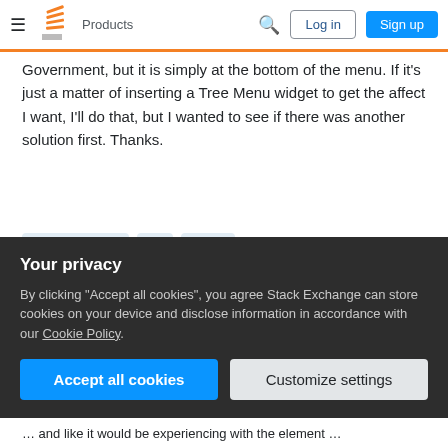Stack Overflow — Products | Log in | Sign up
Government, but it is simply at the bottom of the menu. If it's just a matter of inserting a Tree Menu widget to get the affect I want, I'll do that, but I wanted to see if there was another solution first. Thanks.
drop-down-menu
tree
kentico
Share
Improve this question
asked Aug 28, 2017 at 13:45 jacqueshock 3 ● 3
Your privacy
By clicking "Accept all cookies", you agree Stack Exchange can store cookies on your device and disclose information in accordance with our Cookie Policy.
Accept all cookies  Customize settings